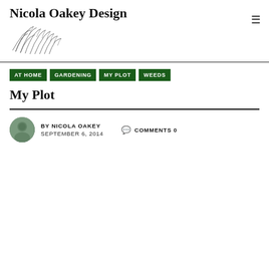Nicola Oakey Design
AT HOME
GARDENING
MY PLOT
WEEDS
My Plot
BY NICOLA OAKEY  SEPTEMBER 6, 2014
COMMENTS 0